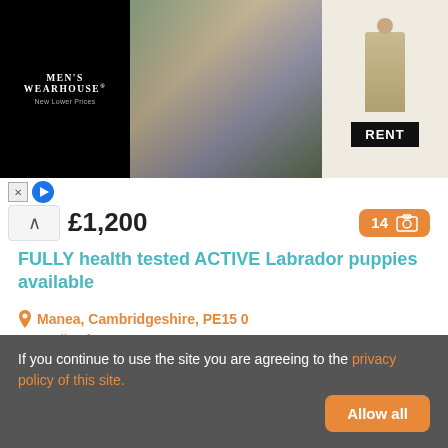[Figure (screenshot): Men's Wearhouse advertisement banner showing a couple in formal wear and a man in a tan suit with RENT button]
£1,200
14 photos badge
FULLY health tested ACTIVE Labrador puppies available
Manea, Cambridgeshire, PE15 0
43.1 miles from Stevenage
From KC Assured breeders holding a 5 star council license,
Labrador Retriever
Antoinette Russell
If you continue to use the site you are agreeing to the privacy policy of this site.